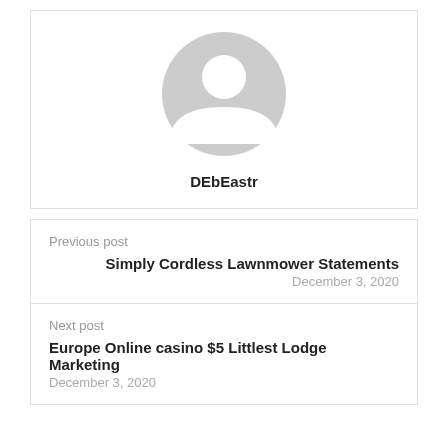[Figure (illustration): Generic grey avatar/profile placeholder icon — circle with person silhouette (head circle and shoulders arc) in light grey]
DEbEastr
Previous post
Simply Cordless Lawnmower Statements
December 3, 2020
Next post
Europe Online casino $5 Littlest Lodge Marketing
December 3, 2020